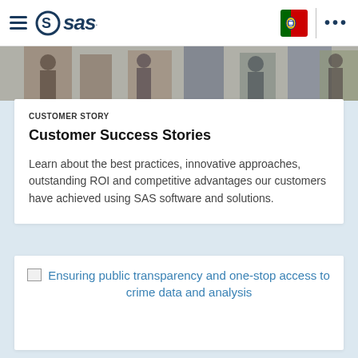SAS navigation bar with hamburger menu, SAS logo, Portuguese flag, and more options
[Figure (photo): Partial photo strip showing people walking, cropped at top]
CUSTOMER STORY
Customer Success Stories
Learn about the best practices, innovative approaches, outstanding ROI and competitive advantages our customers have achieved using SAS software and solutions.
Ensuring public transparency and one-stop access to crime data and analysis